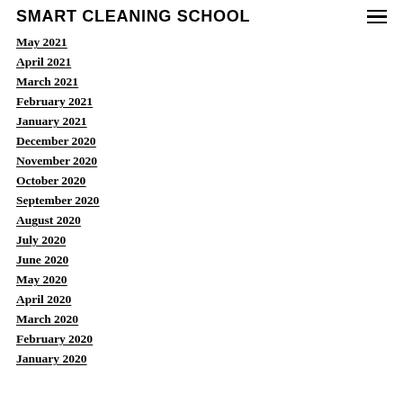SMART CLEANING SCHOOL
May 2021
April 2021
March 2021
February 2021
January 2021
December 2020
November 2020
October 2020
September 2020
August 2020
July 2020
June 2020
May 2020
April 2020
March 2020
February 2020
January 2020